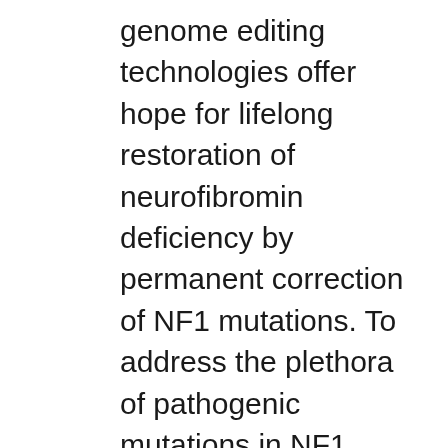genome editing technologies offer hope for lifelong restoration of neurofibromin deficiency by permanent correction of NF1 mutations. To address the plethora of pathogenic mutations in NF1, including specific insertions, deletions, or base substitutions, we propose developing personalized therapeutics for individuals with NF1 using both base and prime editing to precisely correct these lesions in the genome. This project is a collaboration with Dr. Ben Kleinstiver's Lab (CGM).